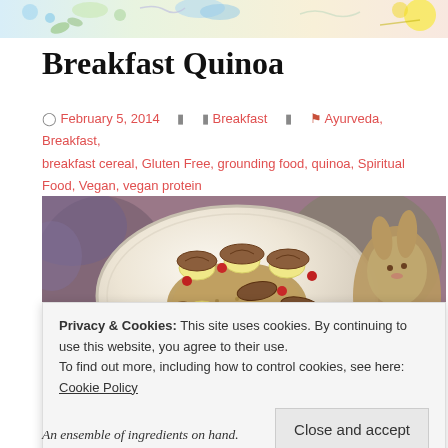[Figure (illustration): Colorful decorative header banner with illustrated elements including plants, clouds, and abstract shapes in blues, greens, and yellows]
Breakfast Quinoa
February 5, 2014   Breakfast   Ayurveda, Breakfast, breakfast cereal, Gluten Free, grounding food, quinoa, Spiritual Food, Vegan, vegan protein
[Figure (photo): A decorative plate with breakfast quinoa topped with banana slices, pecans, cranberries, on a colorful background with a rabbit figurine on the right side]
Privacy & Cookies: This site uses cookies. By continuing to use this website, you agree to their use.
To find out more, including how to control cookies, see here: Cookie Policy
An ensemble of ingredients on hand.